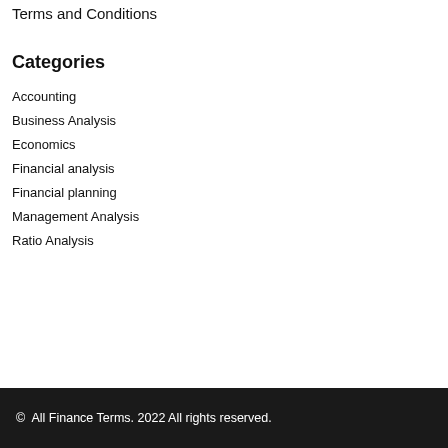Terms and Conditions
Categories
Accounting
Business Analysis
Economics
Financial analysis
Financial planning
Management Analysis
Ratio Analysis
© All Finance Terms. 2022 All rights reserved.